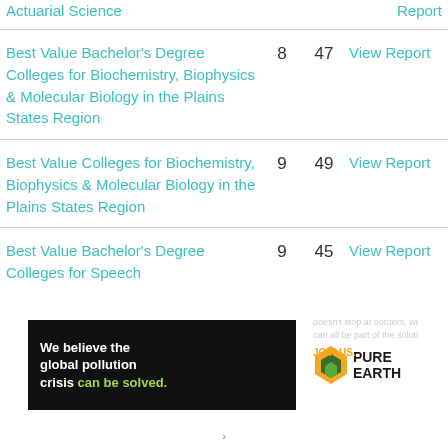Actuarial Science | View Report
Best Value Bachelor's Degree Colleges for Biochemistry, Biophysics & Molecular Biology in the Plains States Region | 8 | 47 | View Report
Best Value Colleges for Biochemistry, Biophysics & Molecular Biology in the Plains States Region | 9 | 49 | View Report
Best Value Bachelor's Degree Colleges for Speech | 9 | 45 | View Report
[Figure (other): Pure Earth advertisement banner: 'We believe the global pollution crisis can be solved. In a world where pollution doesn't stop at borders, we can all be part of the solution. JOIN US.' with Pure Earth logo.]